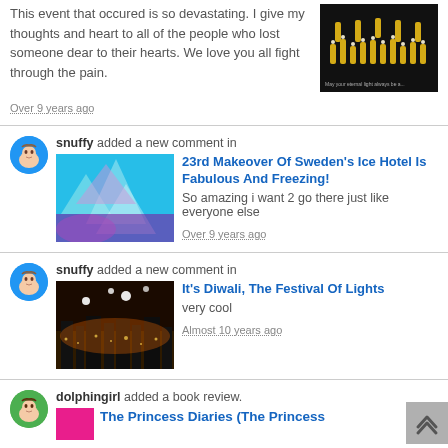This event that occured is so devastating. I give my thoughts and heart to all of the people who lost someone dear to their hearts. We love you all fight through the pain.
Over 9 years ago
snuffy added a new comment in
23rd Makeover Of Sweden's Ice Hotel Is Fabulous And Freezing!
So amazing i want 2 go there just like everyone else
Over 9 years ago
snuffy added a new comment in
It's Diwali, The Festival Of Lights
very cool
Almost 10 years ago
dolphingirl added a book review.
The Princess Diaries (The Princess